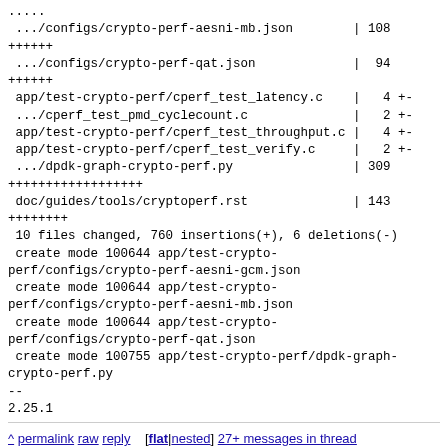.....  
 .../configs/crypto-perf-aesni-mb.json        |  108 
++++++
 .../configs/crypto-perf-qat.json              |   94 
++++++
 app/test-crypto-perf/cperf_test_latency.c     |    4 +-
 .../cperf_test_pmd_cyclecount.c               |    2 +-
 app/test-crypto-perf/cperf_test_throughput.c  |    4 +-
 app/test-crypto-perf/cperf_test_verify.c      |    2 +-
 .../dpdk-graph-crypto-perf.py                 |  309
++++++++++++++++++
 doc/guides/tools/cryptoperf.rst               |  143
++++++++
 10 files changed, 760 insertions(+), 6 deletions(-)
 create mode 100644 app/test-crypto-
perf/configs/crypto-perf-aesni-gcm.json
 create mode 100644 app/test-crypto-
perf/configs/crypto-perf-aesni-mb.json
 create mode 100644 app/test-crypto-
perf/configs/crypto-perf-qat.json
 create mode 100755 app/test-crypto-perf/dpdk-graph-
crypto-perf.py
--
2.25.1
^ permalink raw reply [flat|nested] 27+ messages in thread